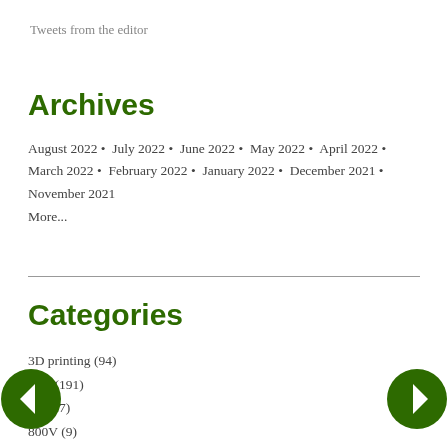Tweets from the editor
Archives
August 2022 • July 2022 • June 2022 • May 2022 • April 2022 • March 2022 • February 2022 • January 2022 • December 2021 • November 2021
More...
Categories
3D printing (94)
48V (191)
5G (27)
800V (9)
Additives (7)